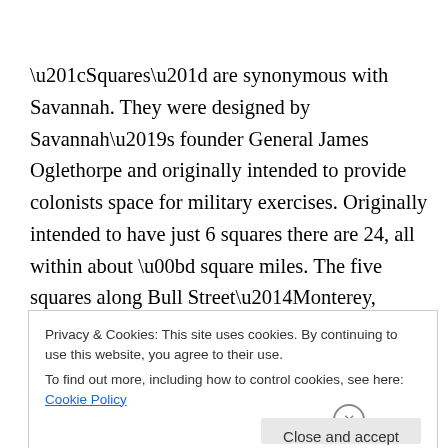“Squares” are synonymous with Savannah. They were designed by Savannah’s founder General James Oglethorpe and originally intended to provide colonists space for military exercises. Originally intended to have just 6 squares there are 24, all within about ½ square miles. The five squares along Bull Street—Monterey, Madison, Chippewa, Wright, and Johnson—were intended
Privacy & Cookies: This site uses cookies. By continuing to use this website, you agree to their use.
To find out more, including how to control cookies, see here: Cookie Policy
Close and accept